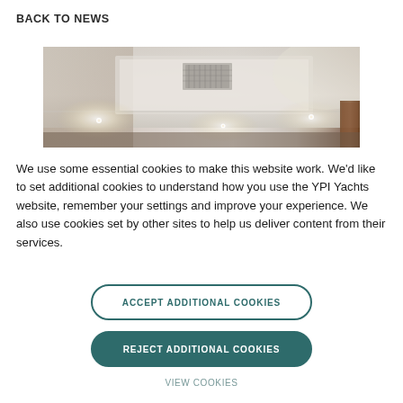BACK TO NEWS
[Figure (photo): Interior ceiling of a yacht showing recessed lighting, HVAC vents, and glossy white surfaces with wood trim visible at the right edge.]
We use some essential cookies to make this website work. We'd like to set additional cookies to understand how you use the YPI Yachts website, remember your settings and improve your experience. We also use cookies set by other sites to help us deliver content from their services.
ACCEPT ADDITIONAL COOKIES
REJECT ADDITIONAL COOKIES
VIEW COOKIES